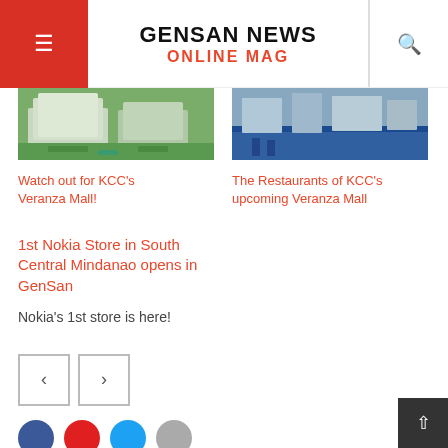GENSAN NEWS ONLINE MAG
[Figure (photo): Aerial view of residential complex with green areas]
[Figure (photo): Construction site with blue fencing]
Watch out for KCC’s Veranza Mall!
The Restaurants of KCC’s upcoming Veranza Mall
1st Nokia Store in South Central Mindanao opens in GenSan
Nokia’s 1st store is here!